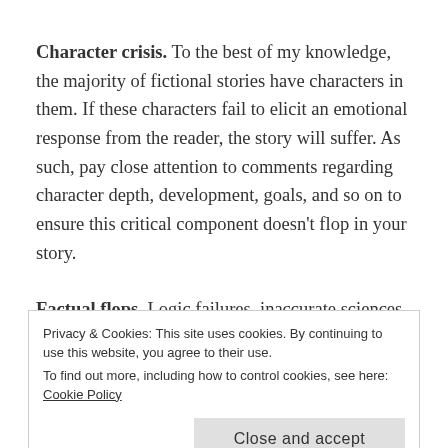Character crisis. To the best of my knowledge, the majority of fictional stories have characters in them. If these characters fail to elicit an emotional response from the reader, the story will suffer. As such, pay close attention to comments regarding character depth, development, goals, and so on to ensure this critical component doesn't flop in your story.
Factual flops. Logic failures, inaccurate sciences,
Privacy & Cookies: This site uses cookies. By continuing to use this website, you agree to their use. To find out more, including how to control cookies, see here: Cookie Policy
Close and accept
then you have better make sure your material covers